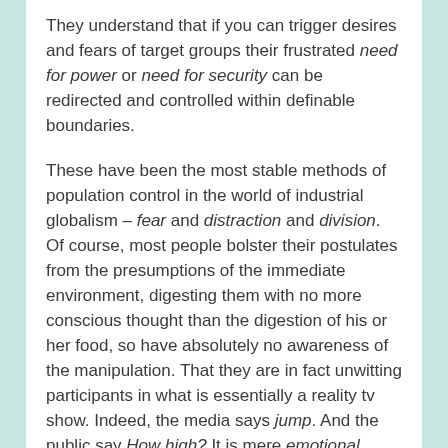They understand that if you can trigger desires and fears of target groups their frustrated need for power or need for security can be redirected and controlled within definable boundaries.
These have been the most stable methods of population control in the world of industrial globalism – fear and distraction and division. Of course, most people bolster their postulates from the presumptions of the immediate environment, digesting them with no more conscious thought than the digestion of his or her food, so have absolutely no awareness of the manipulation. That they are in fact unwitting participants in what is essentially a reality tv show. Indeed, the media says jump. And the public say How high? It is mere emotional puppetry.